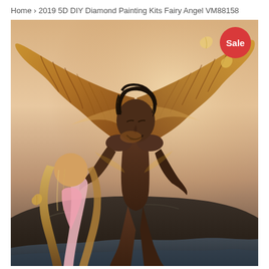Home › 2019 5D DIY Diamond Painting Kits Fairy Angel VM88158
[Figure (illustration): Digital fantasy illustration of a dark-winged male angel with large golden-brown feathered wings spread wide, crouching on a rock. He is shirtless with dark hair and looks downward. In the foreground, a young girl with long blonde hair sits with her back to the viewer, wearing a pink dress. Feathers float in the air. A red 'Sale' badge appears in the top-right corner of the image.]